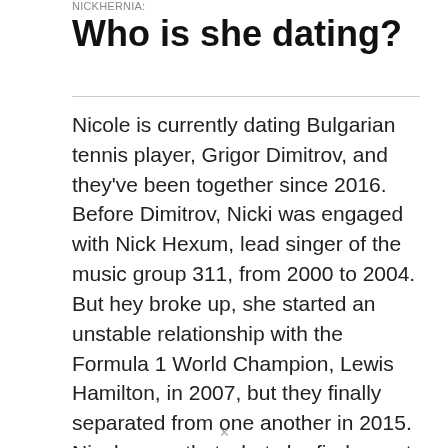Who is she dating?
Nicole is currently dating Bulgarian tennis player, Grigor Dimitrov, and they've been together since 2016. Before Dimitrov, Nicki was engaged with Nick Hexum, lead singer of the music group 311, from 2000 to 2004. But hey broke up, she started an unstable relationship with the Formula 1 World Champion, Lewis Hamilton, in 2007, but they finally separated from one another in 2015. Nicole says that what she finds most attractive in a man is his confidence and